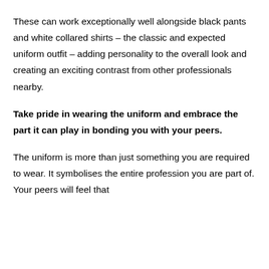These can work exceptionally well alongside black pants and white collared shirts – the classic and expected uniform outfit – adding personality to the overall look and creating an exciting contrast from other professionals nearby.
Take pride in wearing the uniform and embrace the part it can play in bonding you with your peers.
The uniform is more than just something you are required to wear. It symbolises the entire profession you are part of. Your peers will feel that